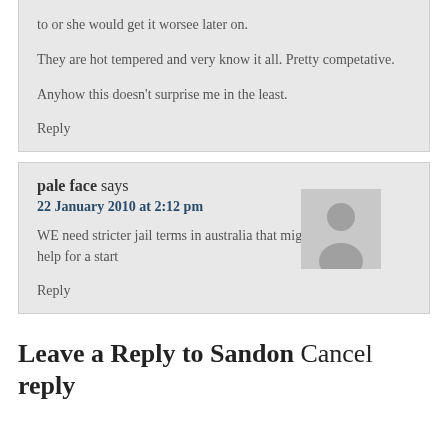to or she would get it worsee later on.
They are hot tempered and very know it all. Pretty competative.
Anyhow this doesn't surprise me in the least.
Reply
pale face says
22 January 2010 at 2:12 pm
WE need stricter jail terms in australia that might help for a start
Reply
Leave a Reply to Sandon Cancel reply